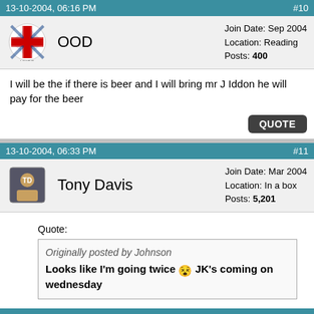13-10-2004, 06:16 PM  #10
OOD
Join Date: Sep 2004
Location: Reading
Posts: 400
I will be the if there is beer and I will bring mr J Iddon he will pay for the beer
13-10-2004, 06:33 PM  #11
Tony Davis
Join Date: Mar 2004
Location: In a box
Posts: 5,201
Quote:
Originally posted by Johnson
Looks like I'm going twice JK's coming on wednesday
Is tuesday his "signing on " day?